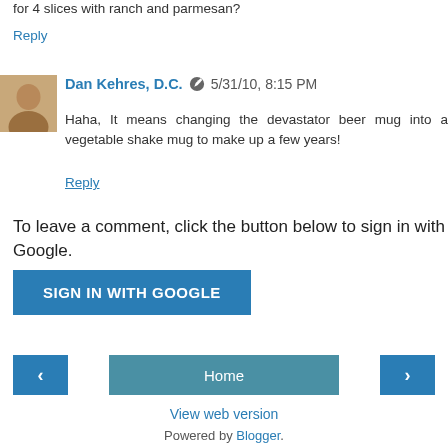for 4 slices with ranch and parmesan?
Reply
Dan Kehres, D.C. 5/31/10, 8:15 PM
Haha, It means changing the devastator beer mug into a vegetable shake mug to make up a few years!
Reply
To leave a comment, click the button below to sign in with Google.
SIGN IN WITH GOOGLE
Home
View web version
Powered by Blogger.